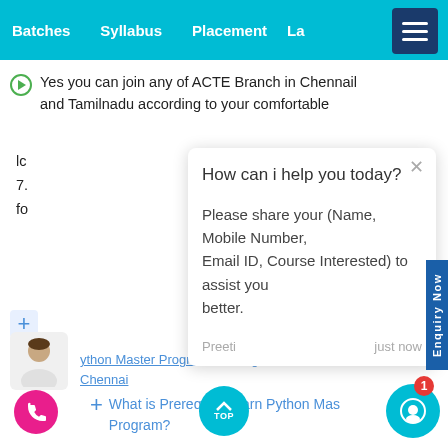Batches   Syllabus   Placement   La
Yes you can join any of ACTE Branch in Chennail and Tamilnadu according to your comfortable
How can i help you today?
Please share your (Name, Mobile Number, Email ID, Course Interested) to assist you better.
Preeti   just now
Python Master Program Training Batch Size in Chennai
What is Prerequisite earn Python Master Program?